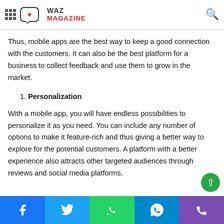WAZ MAGAZINE (logo with grid icon and search icon)
Thus, mobile apps are the best way to keep a good connection with the customers. It can also be the best platform for a business to collect feedback and use them to grow in the market.
1. Personalization
With a mobile app, you will have endless possibilities to personalize it as you need. You can include any number of options to make it feature-rich and thus giving a better way to explore for the potential customers. A platform with a better experience also attracts other targeted audiences through reviews and social media platforms.
Facebook | Twitter | WhatsApp | Telegram | Phone (social share bar)